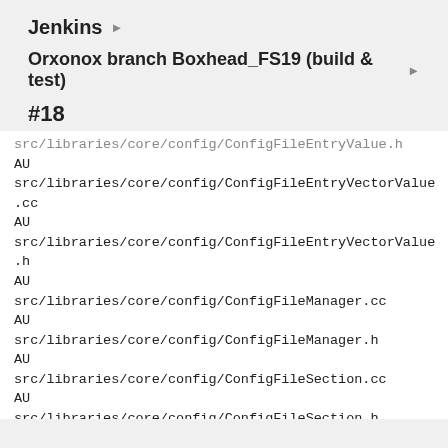Jenkins ▶
Orxonox branch Boxhead_FS19 (build & test) ▶
#18
src/libraries/core/config/ConfigFileEntryValue.h
AU
src/libraries/core/config/ConfigFileEntryVectorValue.cc
AU
src/libraries/core/config/ConfigFileEntryVectorValue.h
AU
src/libraries/core/config/ConfigFileManager.cc
AU
src/libraries/core/config/ConfigFileManager.h
AU
src/libraries/core/config/ConfigFileSection.cc
AU
src/libraries/core/config/ConfigFileSection.h
AU
src/libraries/core/config/ConfigValueContainer.cc